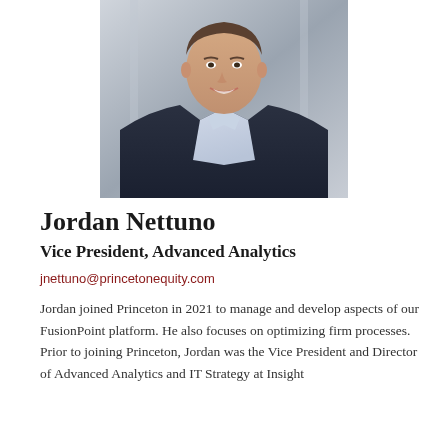[Figure (photo): Professional headshot of Jordan Nettuno, a man in a dark navy blazer and light blue collared shirt, smiling, with a blurred architectural background]
Jordan Nettuno
Vice President, Advanced Analytics
jnettuno@princetonequity.com
Jordan joined Princeton in 2021 to manage and develop aspects of our FusionPoint platform. He also focuses on optimizing firm processes. Prior to joining Princeton, Jordan was the Vice President and Director of Advanced Analytics and IT Strategy at Insight